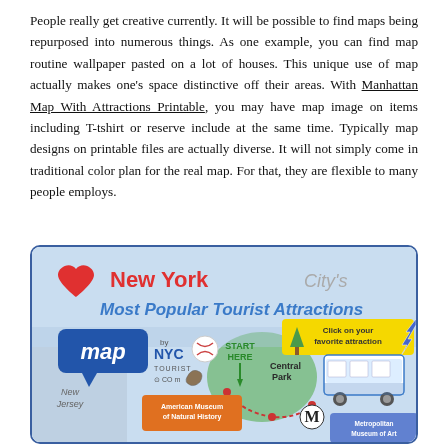People really get creative currently. It will be possible to find maps being repurposed into numerous things. As one example, you can find map routine wallpaper pasted on a lot of houses. This unique use of map actually makes one's space distinctive off their areas. With Manhattan Map With Attractions Printable, you may have map image on items including T-tshirt or reserve include at the same time. Typically map designs on printable files are actually diverse. It will not simply come in traditional color plan for the real map. For that, they are flexible to many people employs.
[Figure (infographic): New York City's Most Popular Tourist Attractions map infographic by NYC Tourist dot com, showing a stylized map with locations including Central Park, American Museum of Natural History, and Metropolitan Museum of Art. Features a red heart, blue speech bubble with 'map', and a yellow banner saying 'Click on your favorite attraction'. Also shows 'New Jersey' label, a tour bus illustration, and dotted path connecting attractions.]